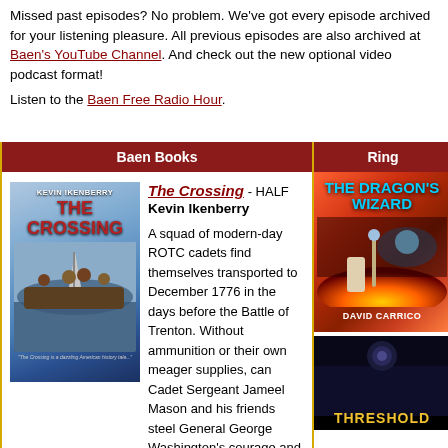Missed past episodes? No problem. We've got every episode archived for your listening pleasure. All previous episodes are also archived at Baen's YouTube Channel. And check out the new optional video podcast format!
Listen to the Baen Free Radio Hour.
Baen Books
Ring
[Figure (illustration): Book cover for The Crossing by Kevin Ikenberry, showing soldiers crossing a river in a boat, reminiscent of Washington Crossing the Delaware]
The Crossing - HALF
Kevin Ikenberry

A squad of modern-day ROTC cadets find themselves transported to December 1776 in the days before the Battle of Trenton. Without ammunition or their own meager supplies, can Cadet Sergeant Jameel Mason and his friends steel General George Washington's courage and set the infancy of the United States of America back on track?
[Figure (illustration): Book cover for The Dragon's Wizard by David Carrico, showing a fantasy scene with fire and a figure with a staff]
[Figure (illustration): Partial book cover showing the word THRESHOLD]